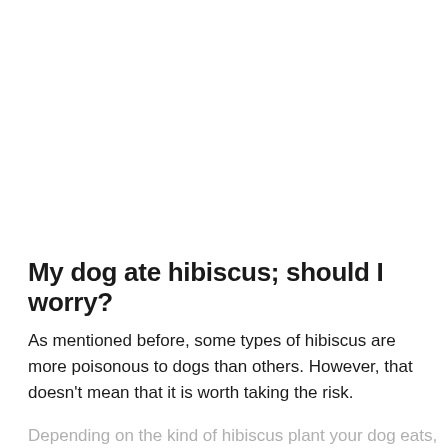My dog ate hibiscus; should I worry?
As mentioned before, some types of hibiscus are more poisonous to dogs than others. However, that doesn't mean that it is worth taking the risk.
Depending on the kind of hibiscus plant your dog eats, they may only experience mild gastrointestinal